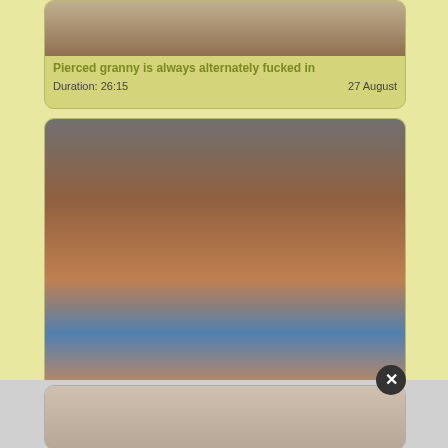[Figure (photo): Partial top of first video thumbnail card]
Pierced granny is always alternately fucked in
Duration: 26:15    27 August
[Figure (photo): Thumbnail image for second video card showing car interior scene]
Getting Finger Fucked In The Car
Duration: 1:41    16 August
[Figure (photo): Partial top of third video thumbnail card, partially visible at bottom]